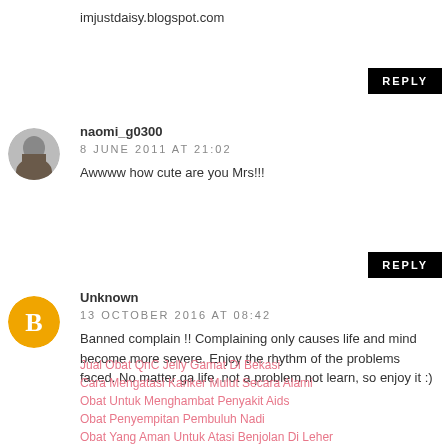imjustdaisy.blogspot.com
REPLY
naomi_g0300
8 JUNE 2011 AT 21:02
Awwww how cute are you Mrs!!!
REPLY
[Figure (illustration): Blogger user avatar orange circle with white B logo]
Unknown
13 OCTOBER 2016 AT 08:42
Banned complain !! Complaining only causes life and mind become more severe. Enjoy the rhythm of the problems faced. No matter ga life, not a problem not learn, so enjoy it :)
Jual Obat QnC Jelly Gamat Di Bekasi
Cara Mengatasi Kanker Mulut Secara Alami
Obat Untuk Menghambat Penyakit Aids
Obat Penyempitan Pembuluh Nadi
Obat Yang Aman Untuk Atasi Benjolan Di Leher